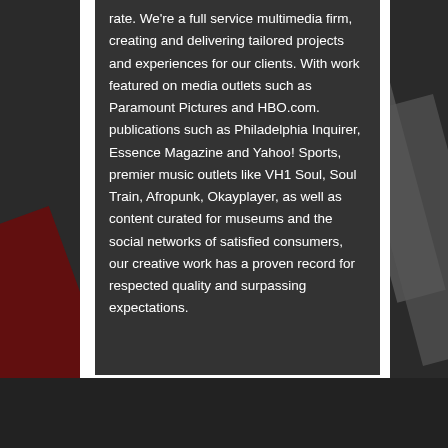rate. We're a full service multimedia firm, creating and delivering tailored projects and experiences for our clients. With work featured on media outlets such as Paramount Pictures and HBO.com. publications such as Philadelphia Inquirer, Essence Magazine and Yahoo! Sports, premier music outlets like VH1 Soul, Soul Train, Afropunk, Okayplayer, as well as content curated for museums and the social networks of satisfied consumers, our creative work has a proven record for respected quality and surpassing expectations.